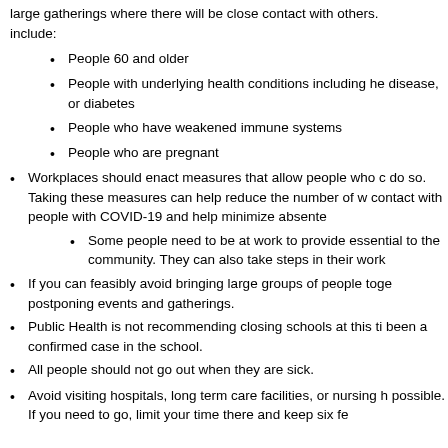large gatherings where there will be close contact with others. include:
People 60 and older
People with underlying health conditions including he disease, or diabetes
People who have weakened immune systems
People who are pregnant
Workplaces should enact measures that allow people who c do so. Taking these measures can help reduce the number of w contact with people with COVID-19 and help minimize absente
Some people need to be at work to provide essential to the community. They can also take steps in their work
If you can feasibly avoid bringing large groups of people toge postponing events and gatherings.
Public Health is not recommending closing schools at this ti been a confirmed case in the school.
All people should not go out when they are sick.
Avoid visiting hospitals, long term care facilities, or nursing h possible. If you need to go, limit your time there and keep six fe